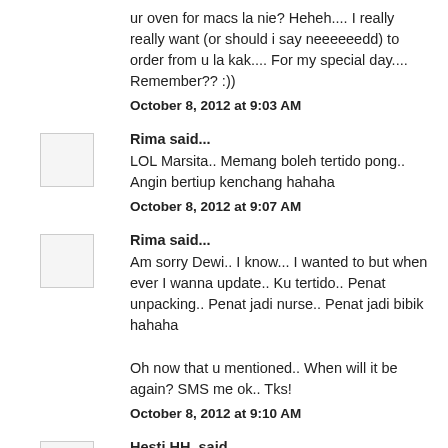ur oven for macs la nie? Heheh.... I really really want (or should i say neeeeeedd) to order from u la kak.... For my special day.... Remember?? :))
October 8, 2012 at 9:03 AM
Rima said...
LOL Marsita.. Memang boleh tertido pong.. Angin bertiup kenchang hahaha
October 8, 2012 at 9:07 AM
Rima said...
Am sorry Dewi.. I know... I wanted to but when ever I wanna update.. Ku tertido.. Penat unpacking.. Penat jadi nurse.. Penat jadi bibik hahaha
Oh now that u mentioned.. When will it be again? SMS me ok.. Tks!
October 8, 2012 at 9:10 AM
Hesti HH. said...
Selamat tuk pindahan rumahnya ya kak Rima. Dounya...